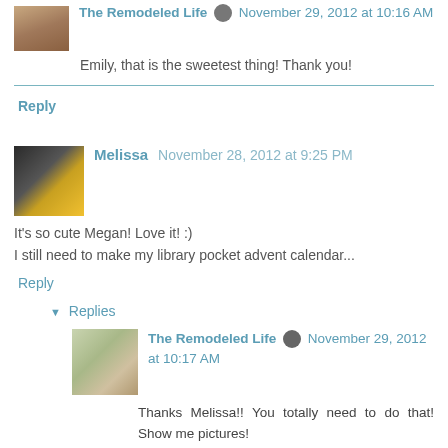Emily, that is the sweetest thing! Thank you!
Reply
Melissa  November 28, 2012 at 9:25 PM
It's so cute Megan! Love it! :)
I still need to make my library pocket advent calendar...
Reply
Replies
The Remodeled Life  November 29, 2012 at 10:17 AM
Thanks Melissa!! You totally need to do that! Show me pictures!
Reply